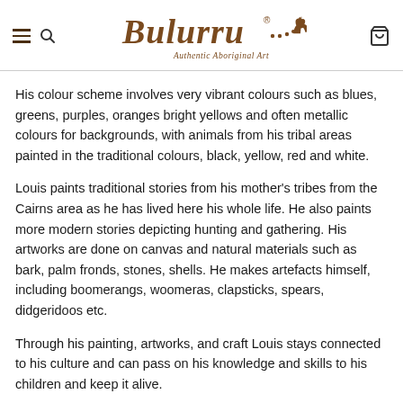Bulurru – Authentic Aboriginal Art
His colour scheme involves very vibrant colours such as blues, greens, purples, oranges bright yellows and often metallic colours for backgrounds, with animals from his tribal areas painted in the traditional colours, black, yellow, red and white.
Louis paints traditional stories from his mother's tribes from the Cairns area as he has lived here his whole life. He also paints more modern stories depicting hunting and gathering. His artworks are done on canvas and natural materials such as bark, palm fronds, stones, shells. He makes artefacts himself, including boomerangs, woomeras, clapsticks, spears, didgeridoos etc.
Through his painting, artworks, and craft Louis stays connected to his culture and can pass on his knowledge and skills to his children and keep it alive.